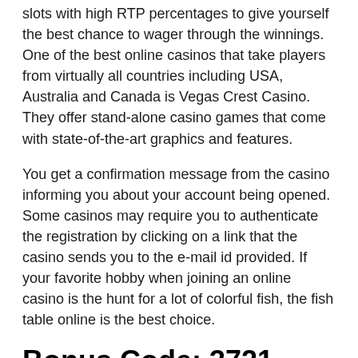slots with high RTP percentages to give yourself the best chance to wager through the winnings. One of the best online casinos that take players from virtually all countries including USA, Australia and Canada is Vegas Crest Casino. They offer stand-alone casino games that come with state-of-the-art graphics and features.
You get a confirmation message from the casino informing you about your account being opened. Some casinos may require you to authenticate the registration by clicking on a link that the casino sends you to the e-mail id provided. If your favorite hobby when joining an online casino is the hunt for a lot of colorful fish, the fish table online is the best choice.
Bonus Code: 3721
Nowadays, bonus offers are available at many online